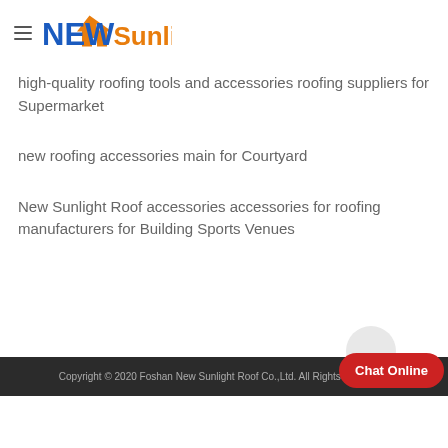NEW Sunlight
high-quality roofing tools and accessories roofing suppliers for Supermarket
new roofing accessories main for Courtyard
New Sunlight Roof accessories accessories for roofing manufacturers for Building Sports Venues
Copyright © 2020 Foshan New Sunlight Roof Co.,Ltd. All Rights Reserved.